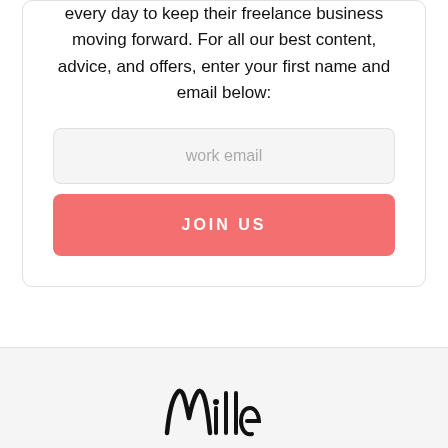every day to keep their freelance business moving forward. For all our best content, advice, and offers, enter your first name and email below:
[Figure (screenshot): Email input field with placeholder text 'work email' and a coral/salmon colored JOIN US button below it]
[Figure (logo): Partial logo visible at bottom of page on light gray background, appears to be a handwritten/script style logo]